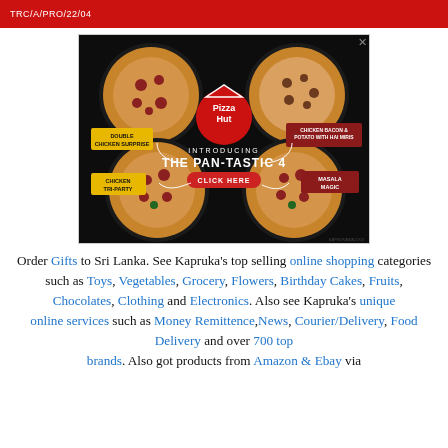TRC/A/PRO/22/04
[Figure (photo): Pizza Hut advertisement: 'Introducing The Pan-Tastic 4' showing four pizzas — Double Chicken Surprise, Chicken Bacon & Potato with Hai Miris, Chicken Tri-Party, Masala Magic — with Pizza Hut logo and 'Click Here' button on dark background.]
Order Gifts to Sri Lanka. See Kapruka's top selling online shopping categories such as Toys, Vegetables, Grocery, Flowers, Birthday Cakes, Fruits, Chocolates, Clothing and Electronics. Also see Kapruka's unique online services such as Money Remittence,News, Courier/Delivery, Food Delivery and over 700 top brands. Also got products from Amazon & Ebay via